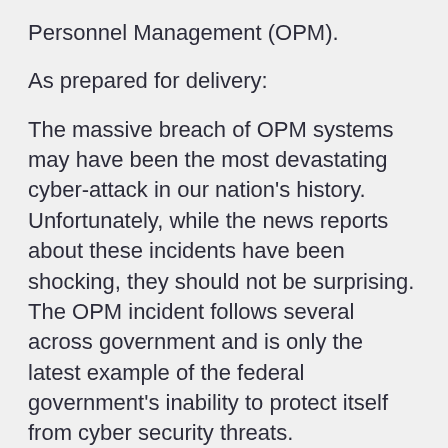Personnel Management (OPM).
As prepared for delivery:
The massive breach of OPM systems may have been the most devastating cyber-attack in our nation's history. Unfortunately, while the news reports about these incidents have been shocking, they should not be surprising. The OPM incident follows several across government and is only the latest example of the federal government's inability to protect itself from cyber security threats.
Today's hearing before the Subcommittee on Financial Services and General Government is intended to elicit further information about the recent OPM data